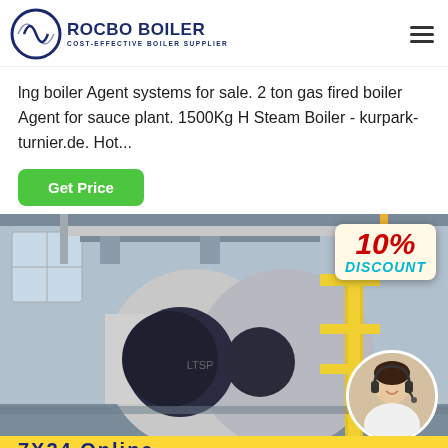[Figure (logo): Rocbo Boiler logo with circular icon and text 'ROCBO BOILER COST-EFFECTIVE BOILER SUPPLIER']
lng boiler Agent systems for sale. 2 ton gas fired boiler Agent for sauce plant. 1500Kg H Steam Boiler - kurpark-turnier.de. Hot...
Get Price
[Figure (photo): Industrial gas boiler equipment in a factory setting with yellow pipes and a 10% DISCOUNT badge, plus a customer service agent portrait circle and '7X24 Online' banner at bottom]